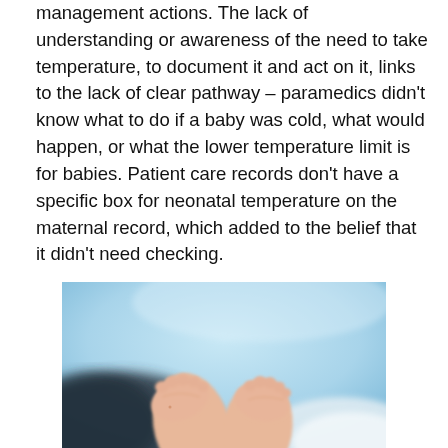management actions. The lack of understanding or awareness of the need to take temperature, to document it and act on it, links to the lack of clear pathway – paramedics didn't know what to do if a baby was cold, what would happen, or what the lower temperature limit is for babies. Patient care records don't have a specific box for neonatal temperature on the maternal record, which added to the belief that it didn't need checking.
[Figure (photo): Close-up photograph of newborn baby feet against a soft blue blurred background, with adult hands partially visible.]